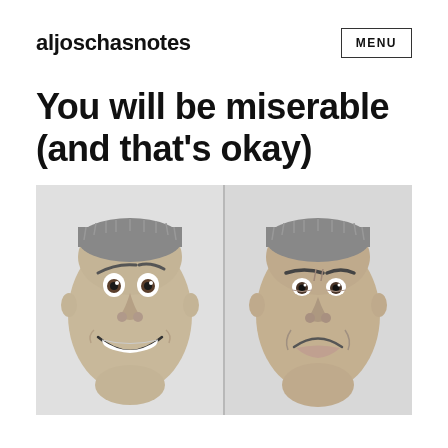aljoschasnotes
You will be miserable (and that's okay)
[Figure (photo): Two close-up photographs of the same middle-aged man with short grey hair side by side. The left photo shows him with a wide exaggerated grin and wide eyes (happy expression). The right photo shows him with a deep frown and furrowed brows (miserable expression). Background is light grey.]